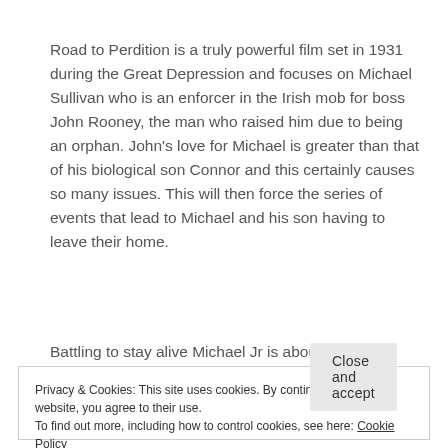Road to Perdition is a truly powerful film set in 1931 during the Great Depression and focuses on Michael Sullivan who is an enforcer in the Irish mob for boss John Rooney, the man who raised him due to being an orphan. John's love for Michael is greater than that of his biological son Connor and this certainly causes so many issues. This will then force the series of events that lead to Michael and his son having to leave their home.
Battling to stay alive Michael Jr is about to witness
Privacy & Cookies: This site uses cookies. By continuing to use this website, you agree to their use.
To find out more, including how to control cookies, see here: Cookie Policy
Close and accept